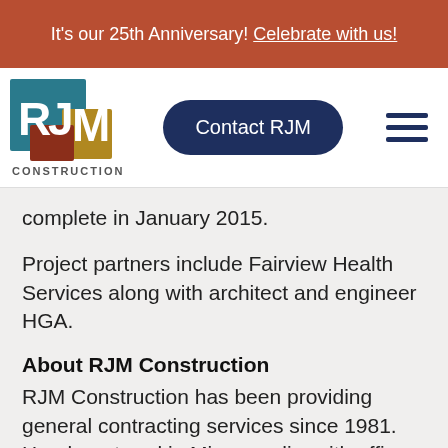It's our 25th Anniversary! Celebrate with us!
[Figure (logo): RJM Construction logo — stylized R, J, M letters in teal, dark navy, and gold/brown squares, with 'CONSTRUCTION' text below]
Contact RJM
complete in January 2015.
Project partners include Fairview Health Services along with architect and engineer HGA.
About RJM Construction
RJM Construction has been providing general contracting services since 1981. Headquartered in Minneapolis, with offices in Denver and Phoenix, RJM has committed...